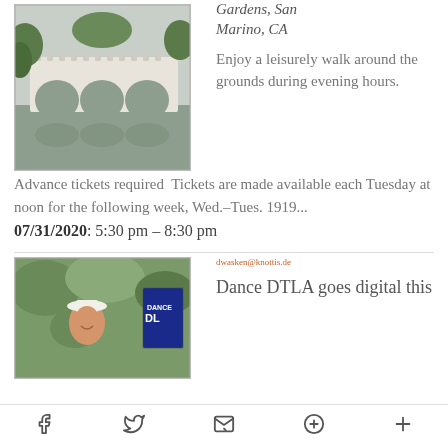[Figure (photo): Photo of a white stone bridge with arched openings reflected in a garden pond, surrounded by green trees and shrubs]
Gardens, San Marino, CA
Enjoy a leisurely walk around the grounds during evening hours. Advance tickets required  Tickets are made available each Tuesday at noon for the following week, Wed.–Tues. 1919...
07/31/2020: 5:30 pm – 8:30 pm
[Figure (photo): Photo of a smiling woman in a white hat outdoors with trees in background and Dance DTLA event signage]
dwasken@knottis.de
Dance DTLA goes digital this
f  twitter  email  p  +